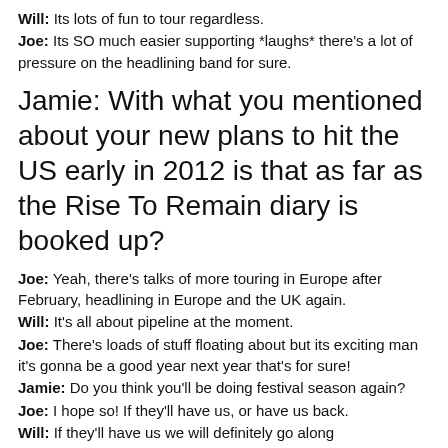Will: Its lots of fun to tour regardless.
Joe: Its SO much easier supporting *laughs* there's a lot of pressure on the headlining band for sure.
Jamie: With what you mentioned about your new plans to hit the US early in 2012 is that as far as the Rise To Remain diary is booked up?
Joe: Yeah, there's talks of more touring in Europe after February, headlining in Europe and the UK again.
Will: It's all about pipeline at the moment.
Joe: There's loads of stuff floating about but its exciting man it's gonna be a good year next year that's for sure!
Jamie: Do you think you'll be doing festival season again?
Joe: I hope so! If they'll have us, or have us back.
Will: If they'll have us we will definitely go along
Both: Love the festivals! *laughs*